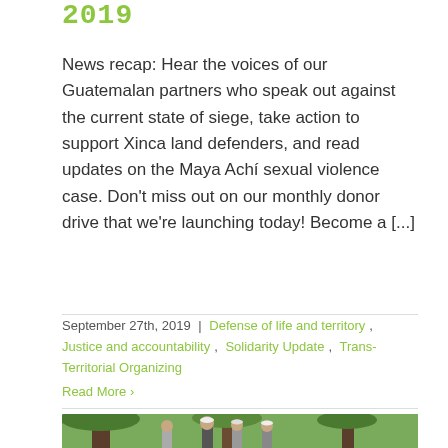2019
News recap: Hear the voices of our Guatemalan partners who speak out against the current state of siege, take action to support Xinca land defenders, and read updates on the Maya Achí sexual violence case. Don't miss out on our monthly donor drive that we're launching today! Become a [...]
September 27th, 2019 | Defense of life and territory, Justice and accountability, Solidarity Update, Trans-Territorial Organizing
Read More ›
[Figure (photo): Outdoor photo showing several people standing in a park or plaza with large trees in the background. The individuals appear to be wearing casual clothing and caps.]